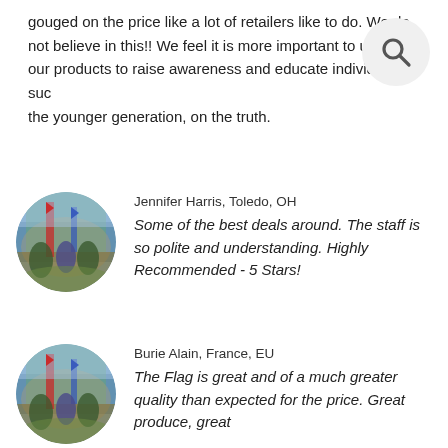gouged on the price like a lot of retailers like to do. We do not believe in this!! We feel it is more important to utilize our products to raise awareness and educate individuals, such as the younger generation, on the truth.
[Figure (illustration): Search icon (magnifying glass) in a circular light gray button, top right corner]
Jennifer Harris, Toledo, OH
[Figure (illustration): Circular avatar image showing a colorful Civil War battle scene painting]
Some of the best deals around. The staff is so polite and understanding. Highly Recommended - 5 Stars!
Burie Alain, France, EU
[Figure (illustration): Circular avatar image showing a colorful Civil War battle scene painting]
The Flag is great and of a much greater quality than expected for the price. Great produce, great